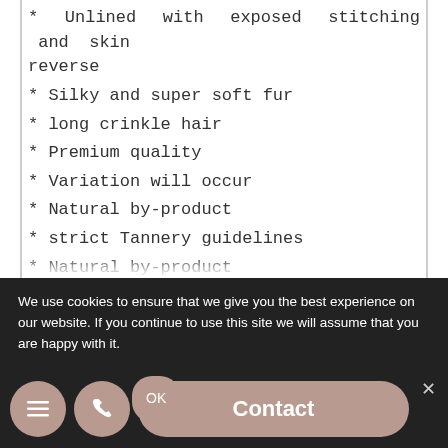* Unlined with exposed stitching and skin reverse
* Silky and super soft fur
* long crinkle hair
* Premium quality
* Variation will occur
* Natural by-product
* strict Tannery guidelines
* Natural by-product
* Non slip floor grip recommended / keep away from direct sunlight
• Light Vacuum Only •spot clean only with warm water and gentle wool soap •Allow to dry naturally •No cleaners or chemicals to be
We use cookies to ensure that we give you the best experience on our website. If you continue to use this site we will assume that you are happy with it.